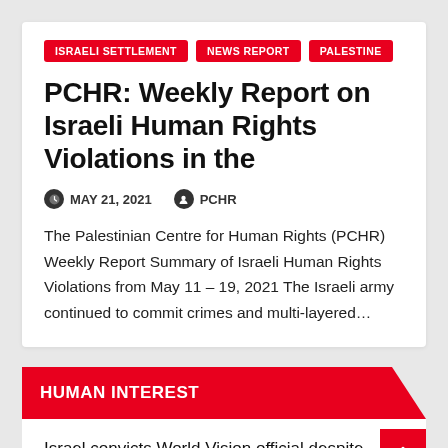ISRAELI SETTLEMENT | NEWS REPORT | PALESTINE
PCHR: Weekly Report on Israeli Human Rights Violations in the
MAY 21, 2021   PCHR
The Palestinian Centre for Human Rights (PCHR) Weekly Report Summary of Israeli Human Rights Violations from May 11 – 19, 2021 The Israeli army continued to commit crimes and multi-layered…
HUMAN INTEREST
Israel convicts World Vision official despite